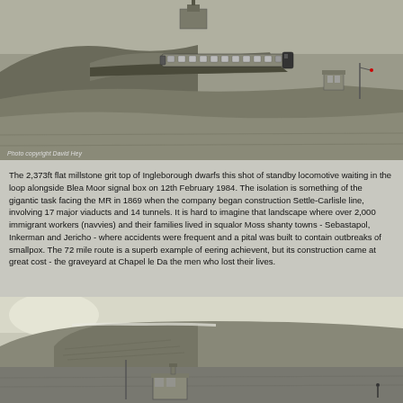[Figure (photo): Black and white aerial/hillside photograph showing a train (locomotive with passenger coaches) traveling along a railway line curving around a hillside. A signal box building is visible on the hilltop. The landscape is open moorland. Photo credit reads 'Photo copyright David Hey'.]
The 2,373ft flat millstone grit top of Ingleborough dwarfs this shot of standby locomotive waiting in the loop alongside Blea Moor signal box on 12th February 1984. The isolation is something of the gigantic task facing the MR in 1869 when the company began construction Settle-Carlisle line, involving 17 major viaducts and 14 tunnels. It is hard to imagine that landscape where over 2,000 immigrant workers (navvies) and their families lived in squalo Moss shanty towns - Sebastapol, Inkerman and Jericho - where accidents were frequent and a hospital was built to contain outbreaks of smallpox. The 72 mile route is a superb example of engineering achievent, but its construction came at great cost - the graveyard at Chapel le Dale bears the men who lost their lives.
[Figure (photo): Black and white photograph showing Ingleborough mountain/hill with its distinctive flat top and steep escarpment face. In the foreground at the bottom is a small railway signal box building. The landscape is moorland.]